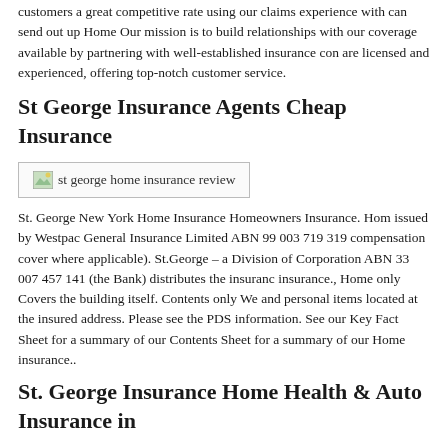customers a great competitive rate using our claims experience with can send out up Home Our mission is to build relationships with our coverage available by partnering with well-established insurance companies are licensed and experienced, offering top-notch customer service.
St George Insurance Agents Cheap Insurance
[Figure (photo): Broken image placeholder labeled 'st george home insurance review']
St. George New York Home Insurance Homeowners Insurance. Home issued by Westpac General Insurance Limited ABN 99 003 719 319 compensation cover where applicable). St.George – a Division of Corporation ABN 33 007 457 141 (the Bank) distributes the insurance insurance., Home only Covers the building itself. Contents only We and personal items located at the insured address. Please see the PDS information. See our Key Fact Sheet for a summary of our Contents Sheet for a summary of our Home insurance..
St. George Insurance Home Health & Auto Insurance in